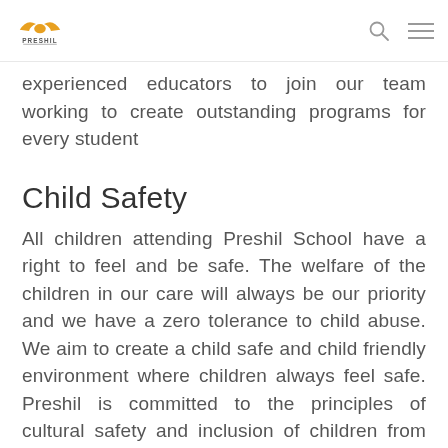PRESHIL
experienced educators to join our team working to create outstanding programs for every student
Child Safety
All children attending Preshil School have a right to feel and be safe. The welfare of the children in our care will always be our priority and we have a zero tolerance to child abuse. We aim to create a child safe and child friendly environment where children always feel safe. Preshil is committed to the principles of cultural safety and inclusion of children from diverse backgrounds and to the safety